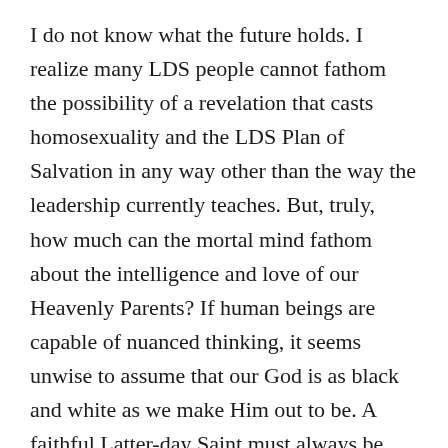I do not know what the future holds. I realize many LDS people cannot fathom the possibility of a revelation that casts homosexuality and the LDS Plan of Salvation in any way other than the way the leadership currently teaches. But, truly, how much can the mortal mind fathom about the intelligence and love of our Heavenly Parents? If human beings are capable of nuanced thinking, it seems unwise to assume that our God is as black and white as we make Him out to be. A faithful Latter-day Saint must always be open to additional light, to revelation, and remain a seeker of each.
While I can't predict what the future holds, I can compare our past to where we are today. I feel confident